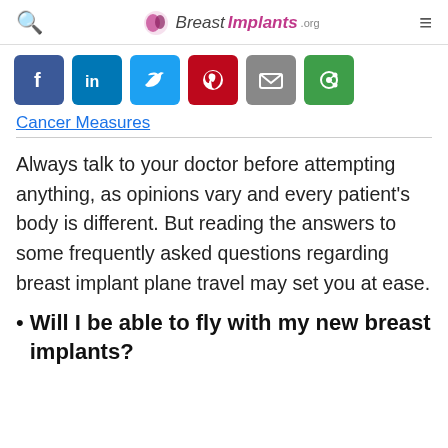BreastImplants.org
[Figure (other): Social sharing buttons: Facebook, LinkedIn, Twitter, Pinterest, Email, and a green share button]
Cancer Measures
Always talk to your doctor before attempting anything, as opinions vary and every patient's body is different. But reading the answers to some frequently asked questions regarding breast implant plane travel may set you at ease.
Will I be able to fly with my new breast implants?